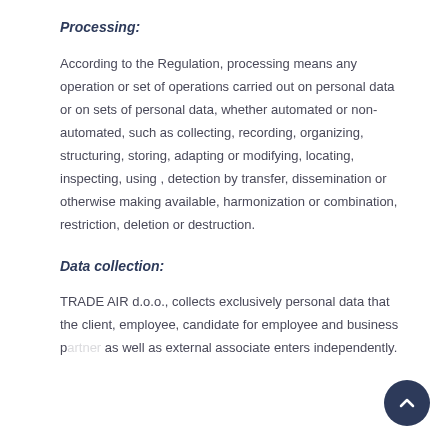Processing:
According to the Regulation, processing means any operation or set of operations carried out on personal data or on sets of personal data, whether automated or non-automated, such as collecting, recording, organizing, structuring, storing, adapting or modifying, locating, inspecting, using , detection by transfer, dissemination or otherwise making available, harmonization or combination, restriction, deletion or destruction.
Data collection:
TRADE AIR d.o.o., collects exclusively personal data that the client, employee, candidate for employee and business p... as well as external associate enters independently.